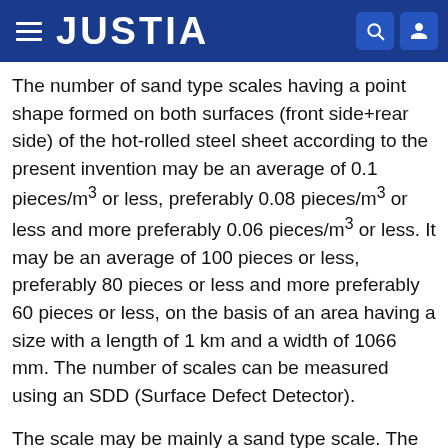JUSTIA
The number of sand type scales having a point shape formed on both surfaces (front side+rear side) of the hot-rolled steel sheet according to the present invention may be an average of 0.1 pieces/m³ or less, preferably 0.08 pieces/m³ or less and more preferably 0.06 pieces/m³ or less. It may be an average of 100 pieces or less, preferably 80 pieces or less and more preferably 60 pieces or less, on the basis of an area having a size with a length of 1 km and a width of 1066 mm. The number of scales can be measured using an SDD (Surface Defect Detector).
The scale may be mainly a sand type scale. The sand type scale is a surface defect, which occurs in the hot rolling process, occurs as if sand is sprinkled on the plate with a relatively round dot shape, occurs sporadically on the width front with a relatively shallow